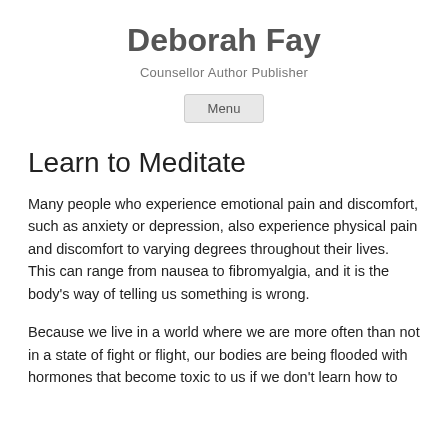Deborah Fay
Counsellor Author Publisher
Menu
Learn to Meditate
Many people who experience emotional pain and discomfort, such as anxiety or depression, also experience physical pain and discomfort to varying degrees throughout their lives.  This can range from nausea to fibromyalgia, and it is the body's way of telling us something is wrong.
Because we live in a world where we are more often than not in a state of fight or flight, our bodies are being flooded with hormones that become toxic to us if we don't learn how to